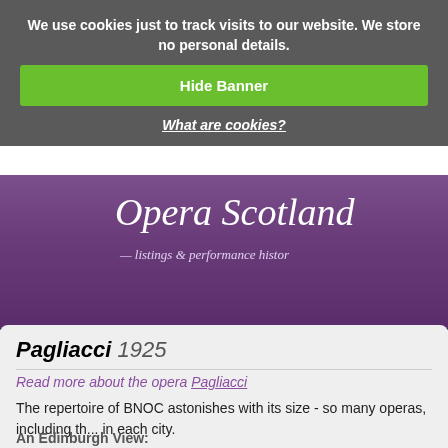We use cookies just to track visits to our website. We store no personal details.
Hide Banner
What are cookies?
[Figure (logo): Opera Scotland logo with cursive script text 'Opera Scotland' and tagline 'listings & performance histor...' on purple gradient background]
Pagliacci 1925
Read more about the opera Pagliacci
The repertoire of BNOC astonishes with its size - so many operas, including th... in each city.
An Edinburgh View: